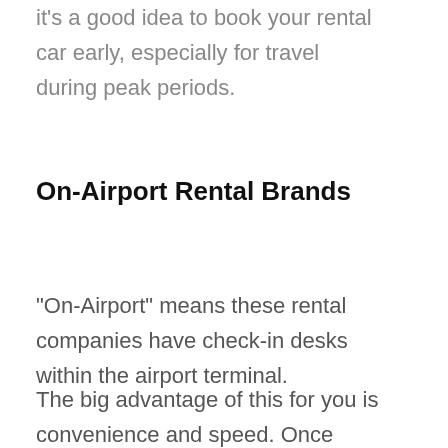it's a good idea to book your rental car early, especially for travel during peak periods.
On-Airport Rental Brands
"On-Airport" means these rental companies have check-in desks within the airport terminal.
The big advantage of this for you is convenience and speed. Once you've checked in you